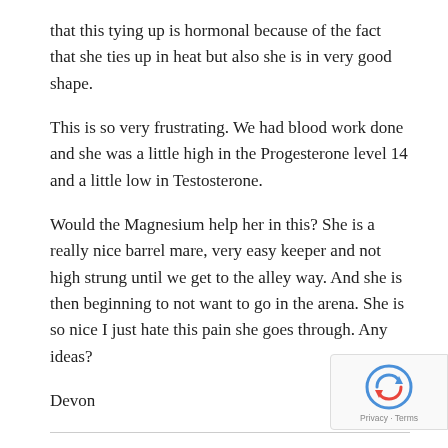that this tying up is hormonal because of the fact that she ties up in heat but also she is in very good shape.
This is so very frustrating. We had blood work done and she was a little high in the Progesterone level 14 and a little low in Testosterone.
Would the Magnesium help her in this? She is a really nice barrel mare, very easy keeper and not high strung until we get to the alley way. And she is then beginning to not want to go in the arena. She is so nice I just hate this pain she goes through. Any ideas?
Devon
I would highly suggest our Hi Mag version of Red Cal and our Weight Check oil.
Commercial feeds in my opinion are at the cause.  They are full hydrogenated fats and other junk.